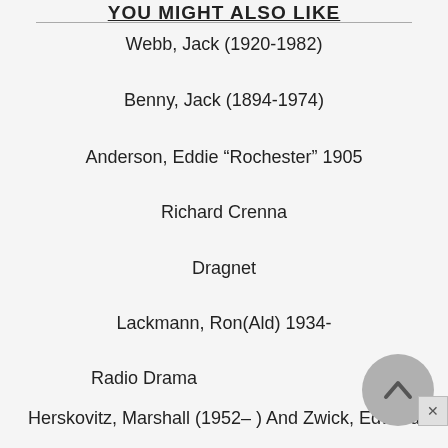YOU MIGHT ALSO LIKE
Webb, Jack (1920-1982)
Benny, Jack (1894-1974)
Anderson, Eddie “Rochester” 1905
Richard Crenna
Dragnet
Lackmann, Ron(Ald) 1934-
Radio Drama
Herskovitz, Marshall (1952– ) And Zwick, Edward
(1952– )